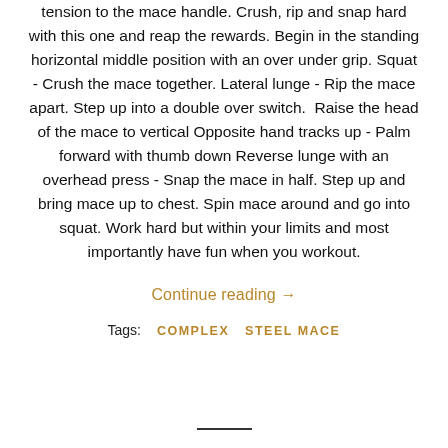tension to the mace handle. Crush, rip and snap hard with this one and reap the rewards. Begin in the standing horizontal middle position with an over under grip. Squat - Crush the mace together. Lateral lunge - Rip the mace apart. Step up into a double over switch.  Raise the head of the mace to vertical Opposite hand tracks up - Palm forward with thumb down Reverse lunge with an overhead press - Snap the mace in half. Step up and bring mace up to chest. Spin mace around and go into squat. Work hard but within your limits and most importantly have fun when you workout.
Continue reading →
Tags:   COMPLEX   STEEL MACE
Contact